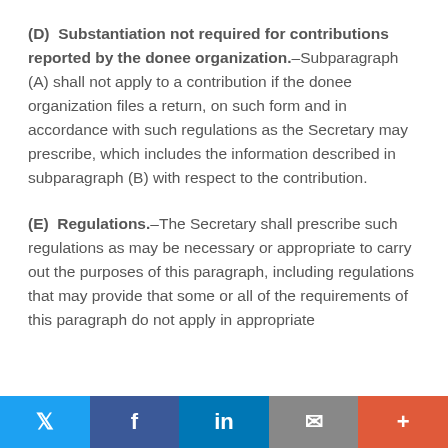(D) Substantiation not required for contributions reported by the donee organization.–Subparagraph (A) shall not apply to a contribution if the donee organization files a return, on such form and in accordance with such regulations as the Secretary may prescribe, which includes the information described in subparagraph (B) with respect to the contribution.
(E) Regulations.–The Secretary shall prescribe such regulations as may be necessary or appropriate to carry out the purposes of this paragraph, including regulations that may provide that some or all of the requirements of this paragraph do not apply in appropriate
Twitter | Facebook | LinkedIn | Email | +